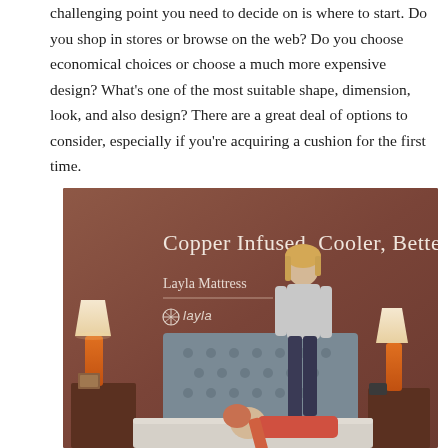challenging point you need to decide on is where to start. Do you shop in stores or browse on the web? Do you choose economical choices or choose a much more expensive design? What's one of the most suitable shape, dimension, look, and also design? There are a great deal of options to consider, especially if you're acquiring a cushion for the first time.
[Figure (photo): Advertisement for Layla Mattress showing two women on a bed. The ad has a brown/rust colored background with the text 'Copper Infused, Cooler, Better.' as headline and 'Layla Mattress' as subheadline with the Layla logo. One woman is standing on the mattress while another lies on it. Orange lamps on nightstands flank each side.]